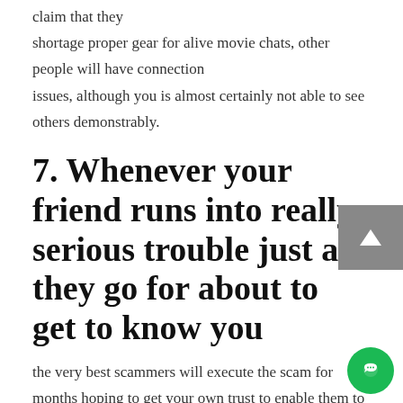claim that they shortage proper gear for alive movie chats, other people will have connection issues, although you is almost certainly not able to see others demonstrably.
7. Whenever your friend runs into really serious trouble just as they go for about to get to know you
the very best scammers will execute the scam for months hoping to get your own trust to enable them to finally acquire you to perform their putting in a bid in the end. You may be bonding together with your online friend for months and they might be going to fly from Ghana to your place to be with you, they suddenly encounter some trouble that will require some funds to sort out. It could be something; some may say they experienced any sort of accident while others may state they got detained immigration and they require some cash to straighten out the